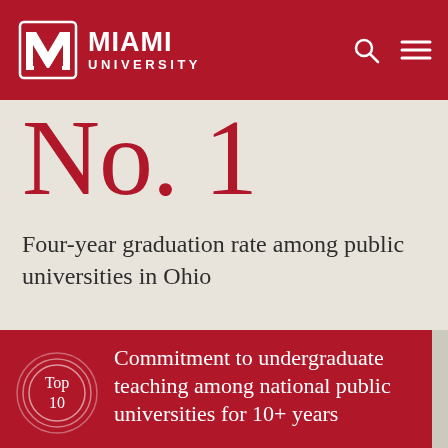Miami University
No. 1
Four-year graduation rate among public universities in Ohio
Top 10 — Commitment to undergraduate teaching among national public universities for 10+ years